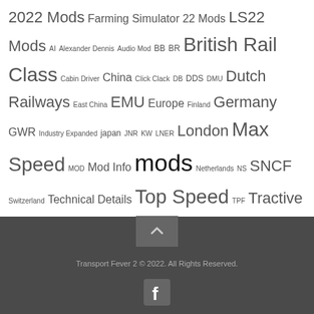2022 Mods Farming Simulator 22 Mods LS22 Mods AI Alexander Dennis Audio Mod BB BR British Rail Class Cabin Driver China Click Clack DB DDS DMU Dutch Railways East China EMU Europe Finland Germany GWR Industry Expanded japan JNR KW LNER London Max Speed MOD Mod Info mods Netherlands NS SNCF Switzerland Technical Details Top Speed TPF Tractive Effort Transport Fever Transport Fever 2 UG UK United Kingdom United States Urban Games USA ETS2 Mods PC
Transport Fever 2 © 2022. All Rights Reserved.